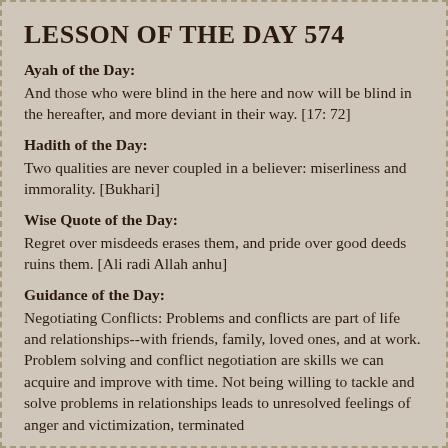LESSON OF THE DAY 574
Ayah of the Day:
And those who were blind in the here and now will be blind in the hereafter, and more deviant in their way. [17: 72]
Hadith of the Day:
Two qualities are never coupled in a believer: miserliness and immorality. [Bukhari]
Wise Quote of the Day:
Regret over misdeeds erases them, and pride over good deeds ruins them. [Ali radi Allah anhu]
Guidance of the Day:
Negotiating Conflicts: Problems and conflicts are part of life and relationships--with friends, family, loved ones, and at work. Problem solving and conflict negotiation are skills we can acquire and improve with time. Not being willing to tackle and solve problems in relationships leads to unresolved feelings of anger and victimization, terminated